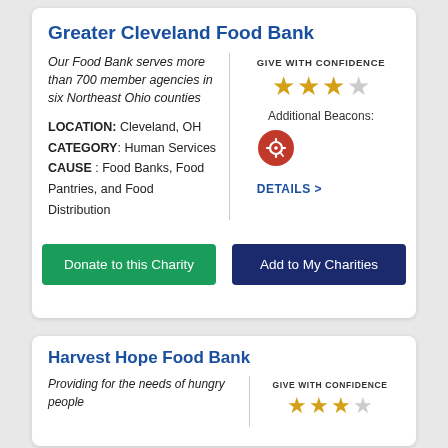Greater Cleveland Food Bank
Our Food Bank serves more than 700 member agencies in six Northeast Ohio counties
LOCATION: Cleveland, OH
CATEGORY: Human Services
CAUSE: Food Banks, Food Pantries, and Food Distribution
[Figure (infographic): Give With Confidence rating: 3 out of 4 stars, with Additional Beacons target icon and DETAILS > link]
Donate to this Charity
Add to My Charities
Harvest Hope Food Bank
Providing for the needs of hungry people
[Figure (infographic): Give With Confidence rating: 3 out of 4 stars]